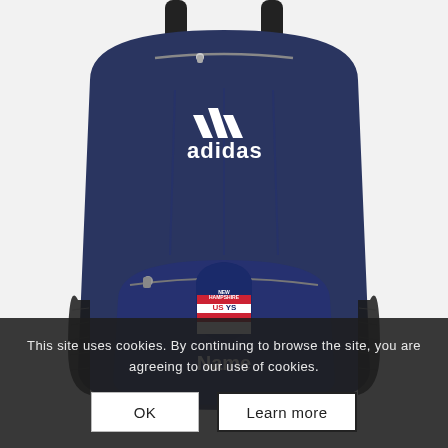[Figure (photo): Navy blue Adidas backpack with white Adidas logo and three-stripe mark on the front pocket. A New Hampshire USYS soccer shield logo is displayed on the main compartment, with the word 'Name' written below it in white bold text.]
This site uses cookies. By continuing to browse the site, you are agreeing to our use of cookies.
OK
Learn more